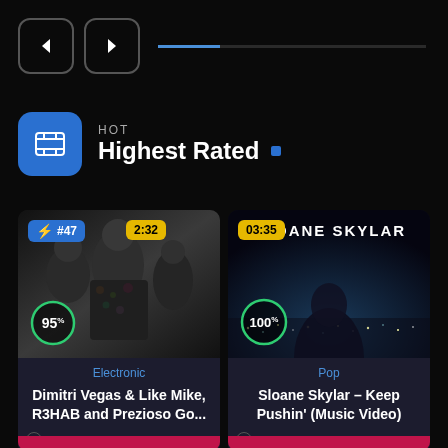[Figure (screenshot): Navigation arrow buttons (left and right) with a progress bar line]
HOT Highest Rated
[Figure (photo): Music video card 1: Dimitri Vegas & Like Mike, R3HAB and Prezioso - Electronic genre, rank #47, duration 2:32, score 95]
Electronic
Dimitri Vegas & Like Mike, R3HAB and Prezioso Go...
Cmadmin — 6 Months Ago
[Figure (photo): Music video card 2: Sloane Skylar – Keep Pushin' (Music Video) - Pop genre, duration 03:35, score 100]
Pop
Sloane Skylar – Keep Pushin' (Music Video)
Brendan Thabo — 5 Days Ago